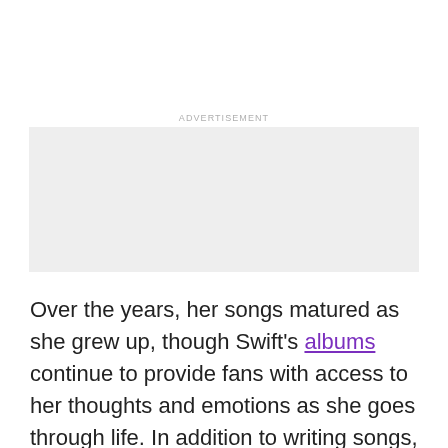[Figure (other): Advertisement placeholder box with label 'ADVERTISEMENT' above a light grey rectangle]
Over the years, her songs matured as she grew up, though Swift's albums continue to provide fans with access to her thoughts and emotions as she goes through life. In addition to writing songs, Swift plays a few instruments as well.